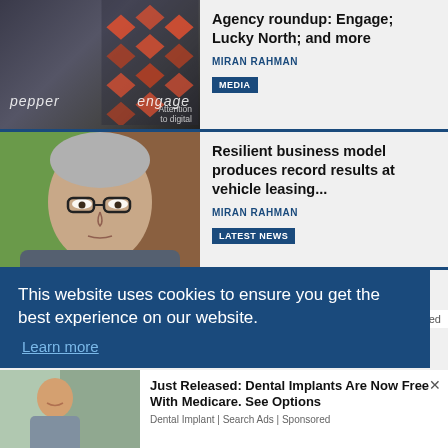[Figure (photo): Office interior photo with 'pepper' and 'engage' text overlay and geometric diamond pattern on wall]
Agency roundup: Engage; Lucky North; and more
MIRAN RAHMAN
MEDIA
[Figure (photo): Portrait of middle-aged man with grey hair and glasses against green/brown background]
Resilient business model produces record results at vehicle leasing...
MIRAN RAHMAN
LATEST NEWS
This website uses cookies to ensure you get the best experience on our website.
Learn more
oola Feed
[Figure (photo): Smiling woman outdoors in grey shirt]
Just Released: Dental Implants Are Now Free With Medicare. See Options
Dental Implant | Search Ads | Sponsored